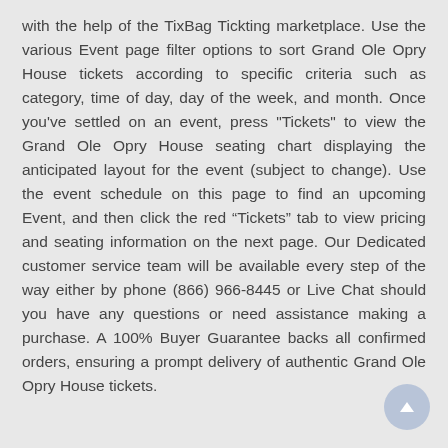with the help of the TixBag Tickting marketplace. Use the various Event page filter options to sort Grand Ole Opry House tickets according to specific criteria such as category, time of day, day of the week, and month. Once you've settled on an event, press "Tickets" to view the Grand Ole Opry House seating chart displaying the anticipated layout for the event (subject to change). Use the event schedule on this page to find an upcoming Event, and then click the red “Tickets” tab to view pricing and seating information on the next page. Our Dedicated customer service team will be available every step of the way either by phone (866) 966-8445 or Live Chat should you have any questions or need assistance making a purchase. A 100% Buyer Guarantee backs all confirmed orders, ensuring a prompt delivery of authentic Grand Ole Opry House tickets.